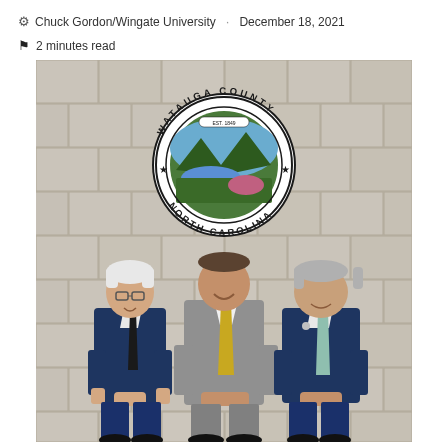Chuck Gordon/Wingate University · December 18, 2021
2 minutes read
[Figure (photo): Three men in suits standing in front of a stone wall with the Watauga County North Carolina official seal mounted on it. The seal is a circular emblem with a landscape scene inside. The man on the left wears a navy suit with a dark tie, the man in the center wears a gray suit with a yellow tie, and the man on the right wears a navy suit with a light-colored tie.]